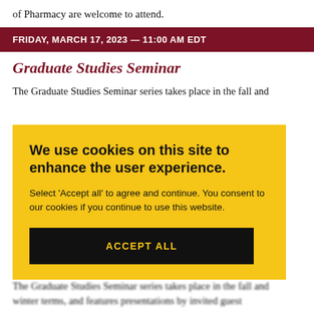of Pharmacy are welcome to attend.
FRIDAY, MARCH 17, 2023 — 11:00 AM EDT
Graduate Studies Seminar
The Graduate Studies Seminar series takes place in the fall and
We use cookies on this site to enhance the user experience. Select 'Accept all' to agree and continue. You consent to our cookies if you continue to use this website. ACCEPT ALL
The Graduate Studies Seminar series takes place in the fall and winter terms, and features presentations by invited guest